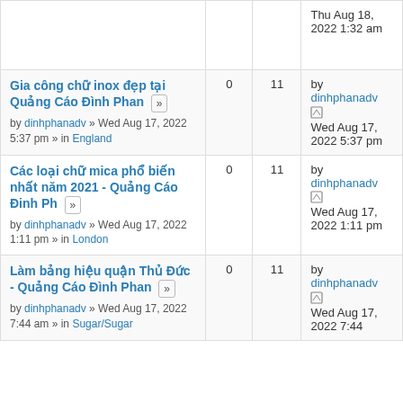| Topic | Replies | Views | Last post |
| --- | --- | --- | --- |
| [partial row] Thu Aug 18, 2022 1:32 am |  |  |  |
| Gia công chữ inox đẹp tại Quảng Cáo Đình Phan
by dinhphanadv » Wed Aug 17, 2022 5:37 pm » in England | 0 | 11 | by dinhphanadv
Wed Aug 17, 2022 5:37 pm |
| Các loại chữ mica phổ biến nhất năm 2021 - Quảng Cáo Đinh Ph
by dinhphanadv » Wed Aug 17, 2022 1:11 pm » in London | 0 | 11 | by dinhphanadv
Wed Aug 17, 2022 1:11 pm |
| Làm bảng hiệu quận Thủ Đức - Quảng Cáo Đình Phan
by dinhphanadv » Wed Aug 17, 2022 7:44 am » in Sugar/Sugar | 0 | 11 | by dinhphanadv
Wed Aug 17, 2022 7:44 |